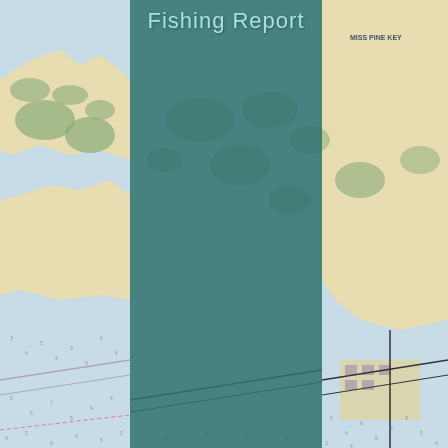[Figure (map): Nautical/coastal map background showing waterways, islands, and coastal features. The left and right sides show the full-color nautical chart with blue water, tan land areas, depth soundings, and place names including 'MISS PINE KEY' and 'Coupon Right'. The center portion is overlaid with a semi-transparent teal/dark green panel.]
Fishing Report